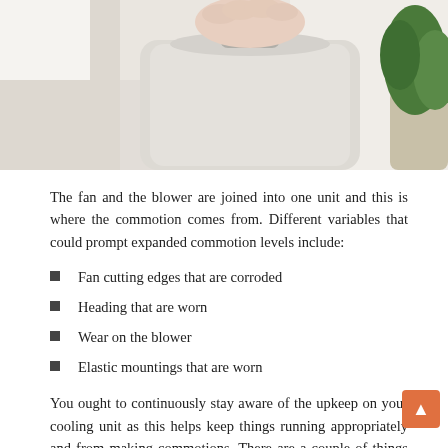[Figure (photo): Person's hand pressing button on top of a white portable air conditioning unit, with a plant in the background]
The fan and the blower are joined into one unit and this is where the commotion comes from. Different variables that could prompt expanded commotion levels include:
Fan cutting edges that are corroded
Heading that are worn
Wear on the blower
Elastic mountings that are worn
You ought to continuously stay aware of the upkeep on your cooling unit as this helps keep things running appropriately and from making commotions. There are a couple of things that should be possible to guarantee that your AC unit makes as little commotion as could really be expected. The primary spot you ought to begin is checking